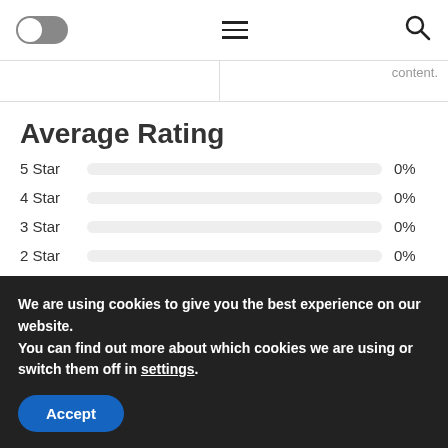[Figure (screenshot): Navigation bar with a toggle switch on the left, hamburger menu icon in the center, and search icon on the right. Below is a partial content row with cropped text 'content.' on the right side.]
Average Rating
[Figure (bar-chart): Average Rating]
We are using cookies to give you the best experience on our website.
You can find out more about which cookies we are using or switch them off in settings.
Accept